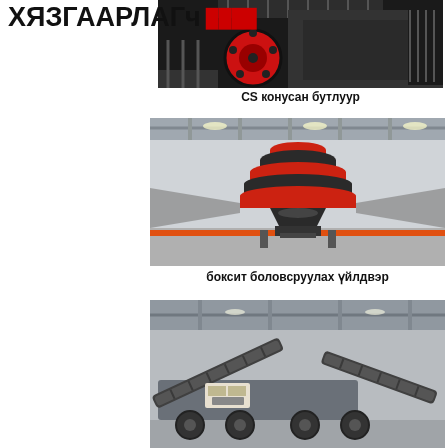ХЯЗГААРЛАГч
[Figure (photo): CS cone crusher - industrial crushing machine with red flywheel and dark metal frame]
CS конусан бутлуур
[Figure (photo): Bauxite processing plant - large industrial cone crusher with red and black tiered body in factory hall]
боксит боловсруулах үйлдвэр
[Figure (photo): Mobile crushing and screening plant with conveyor belts inside industrial warehouse]